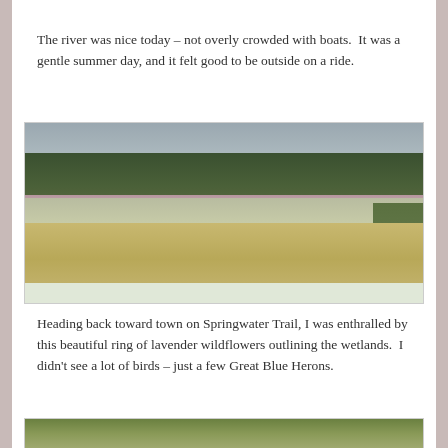[Figure (photo): Top portion of a photo showing greenery, partially visible at top of page]
The river was nice today – not overly crowded with boats.  It was a gentle summer day, and it felt good to be outside on a ride.
[Figure (photo): Wetlands scene with lavender wildflowers ringing the water, tall golden reeds in foreground, dark green tree line in background under cloudy grey sky]
Heading back toward town on Springwater Trail, I was enthralled by this beautiful ring of lavender wildflowers outlining the wetlands.  I didn't see a lot of birds – just a few Great Blue Herons.
[Figure (photo): Bottom portion of another photo showing trees, partially visible at bottom of page]